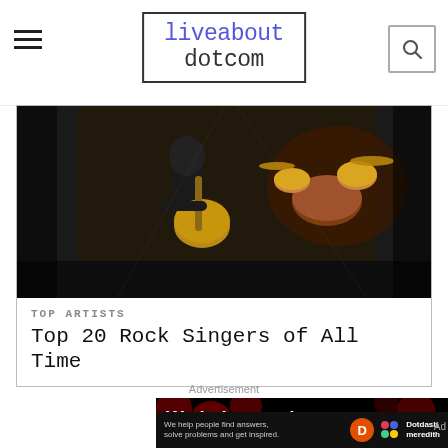liveabout dotcom
[Figure (photo): Musician on stage playing electric guitar with drums in background, dark concert setting]
TOP ARTISTS
Top 20 Rock Singers of All Time
Advertisement
[Figure (photo): Advertisement banner: We help people find answers, solve problems. Dark background with red bokeh circles. Dotdash Meredith logo at bottom.]